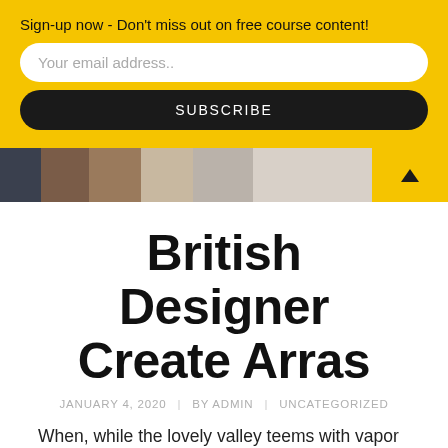Sign-up now - Don't miss out on free course content!
Your email address..
SUBSCRIBE
[Figure (photo): Partial photo of people standing together, cropped at waist level; yellow scroll-to-top button with upward triangle on the right]
British Designer Create Arras
JANUARY 4, 2020  |  BY ADMIN  |  UNCATEGORIZED
When, while the lovely valley teems with vapor around me, and the meridian sun strikes the upper surface of the impenetrable foliage of my trees, and